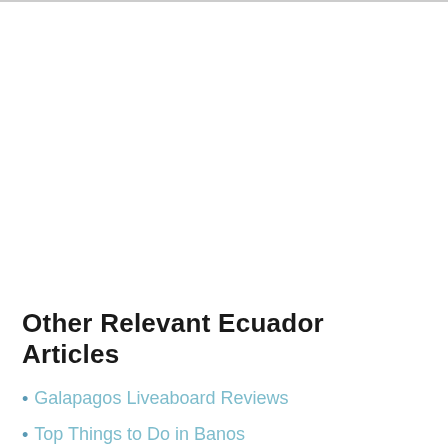Other Relevant Ecuador Articles
Galapagos Liveaboard Reviews
Top Things to Do in Banos